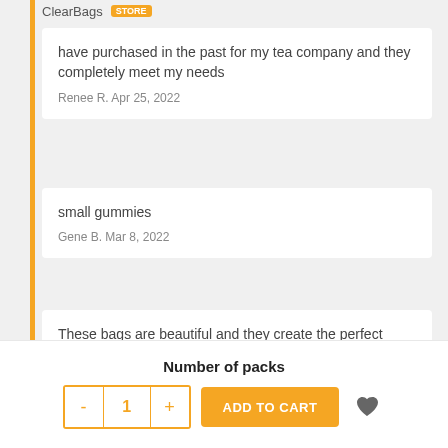ClearBags STORE
have purchased in the past for my tea company and they completely meet my needs
Renee R. Apr 25, 2022
small gummies
Gene B. Mar 8, 2022
These bags are beautiful and they create the perfect presentation for our products!
Valeria J. Mar 8, 2022
Number of packs
- 1 + ADD TO CART ♥